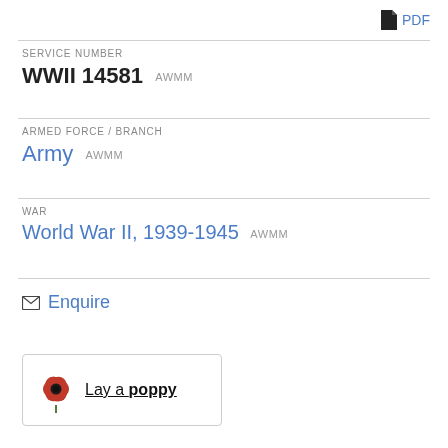PDF
SERVICE NUMBER
WWII 14581 AWMM
ARMED FORCE / BRANCH
Army AWMM
WAR
World War II, 1939-1945 AWMM
Enquire
[Figure (illustration): Lay a poppy button with red poppy flower illustration and underlined text 'Lay a poppy']